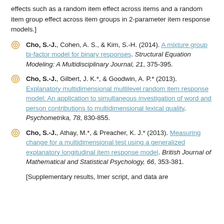effects such as a random item effect across items and a random item group effect across item groups in 2-parameter item response models.]
Cho, S.-J., Cohen, A. S., & Kim, S.-H. (2014). A mixture group bi-factor model for binary responses. Structural Equation Modeling: A Multidisciplinary Journal, 21, 375-395.
Cho, S.-J., Gilbert, J. K.*, & Goodwin, A. P.* (2013). Explanatory multidimensional multilevel random item response model: An application to simultaneous investigation of word and person contributions to multidimensional lexical quality. Psychometrika, 78, 830-855.
Cho, S.-J., Athay, M.*, & Preacher, K. J.* (2013). Measuring change for a multidimensional test using a generalized explanatory longitudinal item response model. British Journal of Mathematical and Statistical Psychology, 66, 353-381.
[Supplementary results, lmer script, and data are